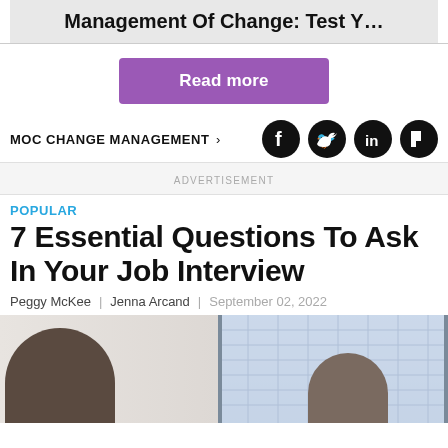Management Of Change: Test Y…
Read more
MOC CHANGE MANAGEMENT ›
ADVERTISEMENT
POPULAR
7 Essential Questions To Ask In Your Job Interview
Peggy McKee | Jenna Arcand | September 02, 2022
[Figure (photo): Two people in a job interview setting, facing each other, with a blurred city building visible through a window in the background.]